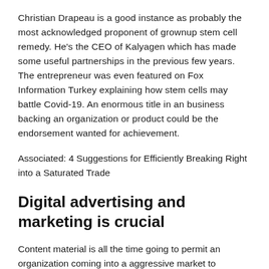Christian Drapeau is a good instance as probably the most acknowledged proponent of grownup stem cell remedy. He's the CEO of Kalyagen which has made some useful partnerships in the previous few years. The entrepreneur was even featured on Fox Information Turkey explaining how stem cells may battle Covid-19. An enormous title in an business backing an organization or product could be the endorsement wanted for achievement.
Associated: 4 Suggestions for Efficiently Breaking Right into a Saturated Trade
Digital advertising and marketing is crucial
Content material is all the time going to permit an organization coming into a aggressive market to